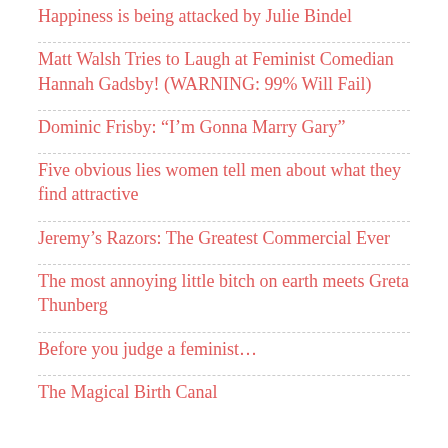Happiness is being attacked by Julie Bindel
Matt Walsh Tries to Laugh at Feminist Comedian Hannah Gadsby! (WARNING: 99% Will Fail)
Dominic Frisby: “I’m Gonna Marry Gary”
Five obvious lies women tell men about what they find attractive
Jeremy’s Razors: The Greatest Commercial Ever
The most annoying little bitch on earth meets Greta Thunberg
Before you judge a feminist…
The Magical Birth Canal